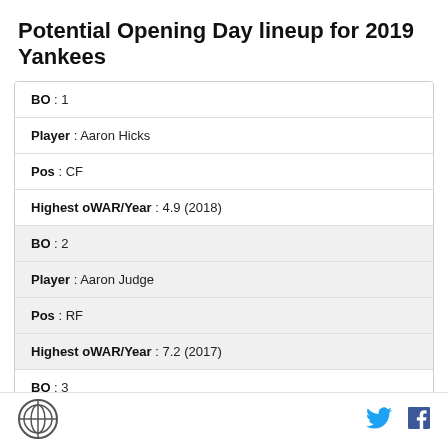Potential Opening Day lineup for 2019 Yankees
| Field | Value |
| --- | --- |
| BO | 1 |
| Player | Aaron Hicks |
| Pos | CF |
| Highest oWAR/Year | 4.9 (2018) |
| BO | 2 |
| Player | Aaron Judge |
| Pos | RF |
| Highest oWAR/Year | 7.2 (2017) |
| BO | 3 |
Logo | Twitter | Facebook